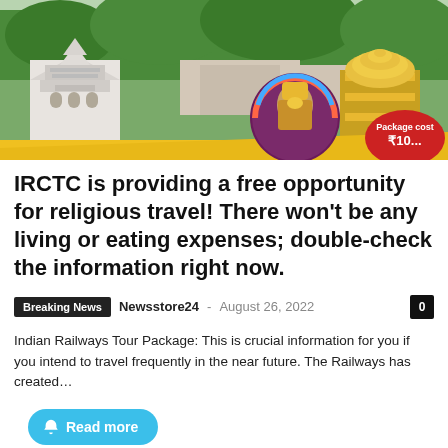[Figure (photo): Aerial view of Tirupati Balaji temple complex with white gopuram towers and golden dome temple; circular medallion showing deity image; red badge reading 'Package cost ₹10...']
IRCTC is providing a free opportunity for religious travel! There won't be any living or eating expenses; double-check the information right now.
Breaking News  Newsstore24 - August 26, 2022   0
Indian Railways Tour Package: This is crucial information for you if you intend to travel frequently in the near future. The Railways has created...
Read more